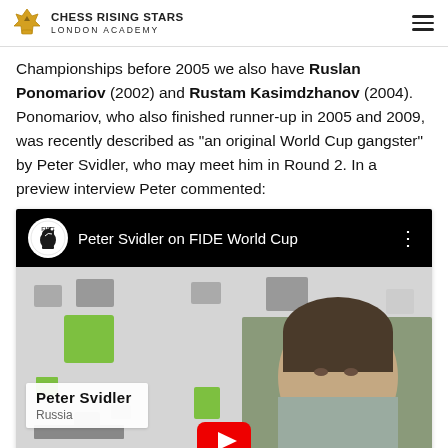Chess Rising Stars London Academy
Championships before 2005 we also have Ruslan Ponomariov (2002) and Rustam Kasimdzhanov (2004). Ponomariov, who also finished runner-up in 2005 and 2009, was recently described as “an original World Cup gangster” by Peter Svidler, who may meet him in Round 2. In a preview interview Peter commented:
[Figure (screenshot): Embedded YouTube video thumbnail showing Peter Svidler on FIDE World Cup. The video has a black top bar with FIDE chess logo, title 'Peter Svidler on FIDE World Cup', and three-dot menu. The thumbnail shows a stylized background with 3D cubes in gray and green, and a photo of Peter Svidler (labeled 'Peter Svidler, Russia') with a YouTube play button overlay.]